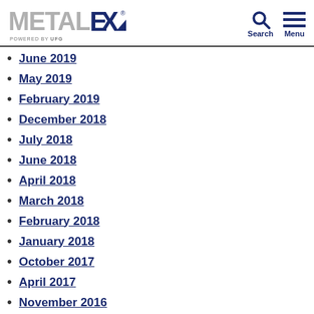METALEX powered by UPG — Search, Menu
June 2019
May 2019
February 2019
December 2018
July 2018
June 2018
April 2018
March 2018
February 2018
January 2018
October 2017
April 2017
November 2016